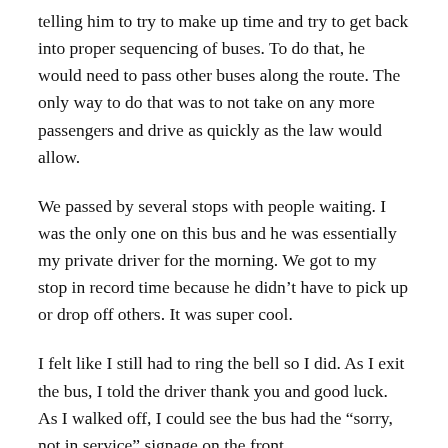telling him to try to make up time and try to get back into proper sequencing of buses. To do that, he would need to pass other buses along the route. The only way to do that was to not take on any more passengers and drive as quickly as the law would allow.
We passed by several stops with people waiting. I was the only one on this bus and he was essentially my private driver for the morning. We got to my stop in record time because he didn't have to pick up or drop off others. It was super cool.
I felt like I still had to ring the bell so I did. As I exit the bus, I told the driver thank you and good luck. As I walked off, I could see the bus had the “sorry, not in service” signage on the front.
It was a fun commute this morning.